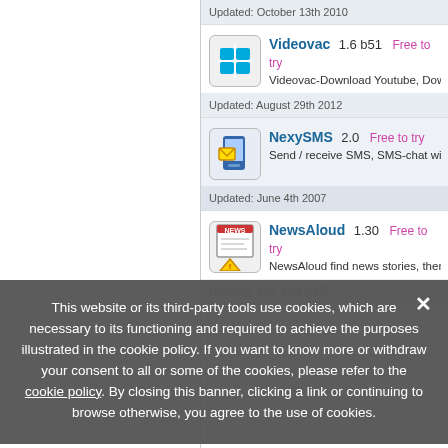Updated: October 13th 2010
Videovac  1.6 b51  Free to try
Videovac-Download Youtube, Download...
Updated: August 29th 2012
NexySMS  2.0  Free to try
Send / receive SMS, SMS-chat with your...
Updated: June 4th 2007
NewsAloud  1.30  Free to try
NewsAloud find news stories, then reads...
Updated: May 31st 2007
This website or its third-party tools use cookies, which are necessary to its functioning and required to achieve the purposes illustrated in the cookie policy. If you want to know more or withdraw your consent to all or some of the cookies, please refer to the cookie policy. By closing this banner, clicking a link or continuing to browse otherwise, you agree to the use of cookies.